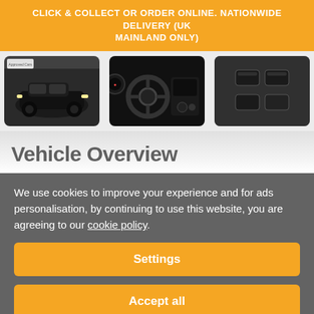CLICK & COLLECT OR ORDER ONLINE. NATIONWIDE DELIVERY (UK MAINLAND ONLY)
[Figure (photo): Three car photos: black Renault Clio exterior, car interior with steering wheel and infotainment, close-up of interior controls/buttons]
Vehicle Overview
We use cookies to improve your experience and for ads personalisation, by continuing to use this website, you are agreeing to our cookie policy.
Settings
Accept all